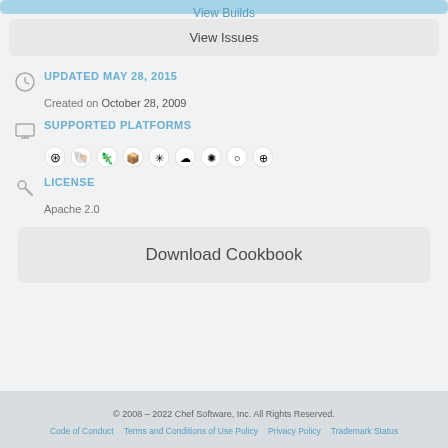View Issues
UPDATED MAY 28, 2015
Created on October 28, 2009
SUPPORTED PLATFORMS
[Figure (infographic): Row of platform icons including Fedora, Debian, openSUSE, Puppet, Gentoo, Solaris/cloud, FreeBSD/sunburst, Oracle, Ubuntu]
LICENSE
Apache 2.0
Download Cookbook
© 2008 – 2022 Chef Software, Inc. All Rights Reserved.
Code of Conduct   Terms and Conditions of Use Policy   Privacy Policy   Trademark Status